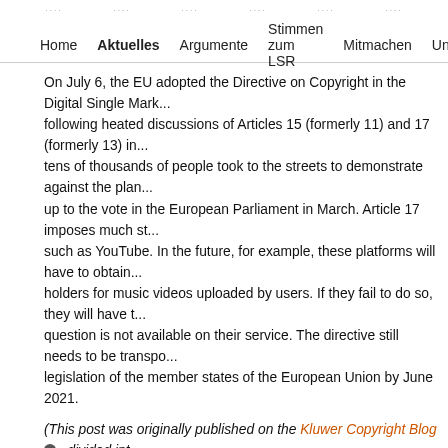Home  Aktuelles  Argumente  Stimmen zum LSR  Mitmachen  Unterstütz...
On July 6, the EU adopted the Directive on Copyright in the Digital Single Mark... following heated discussions of Articles 15 (formerly 11) and 17 (formerly 13) in... tens of thousands of people took to the streets to demonstrate against the plan... up to the vote in the European Parliament in March. Article 17 imposes much st... such as YouTube. In the future, for example, these platforms will have to obtain... holders for music videos uploaded by users. If they fail to do so, they will have t... question is not available on their service. The directive still needs to be transpo... legislation of the member states of the European Union by June 2021.
(This post was originally published on the Kluwer Copyright Blog , divided int...
The debates surrounding this EU copyright reform were heated. Article 17 in pa... debated. Some argued the legislation would guarantee that creators could m... works. Others predicted the end of the internet or at least significant threats... the net. Some politicians denigrated anxious citizen protestors as bots and p... supporters. In reaction to the public uproar, the EU's copyright rapporteur, Axel... quick to announce that upload filters should be avoided when implementing t...
Indeed, many serious mistakes could be made during the implementation of the... Some of this legislation's major flaws can be corrected, however, and urgently n... cultural diversity of the internet is at risk of being seriously impaired.